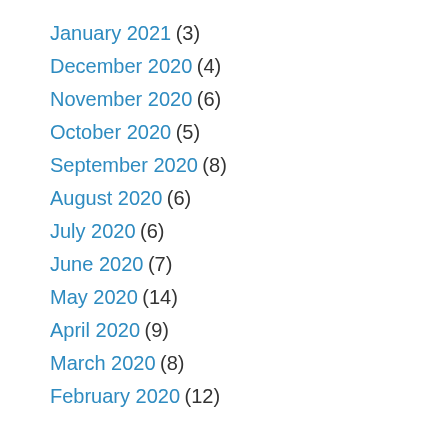January 2021 (3)
December 2020 (4)
November 2020 (6)
October 2020 (5)
September 2020 (8)
August 2020 (6)
July 2020 (6)
June 2020 (7)
May 2020 (14)
April 2020 (9)
March 2020 (8)
February 2020 (12)